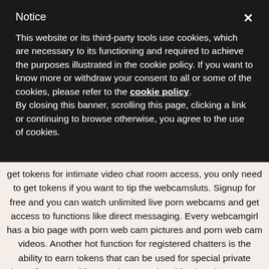Notice
This website or its third-party tools use cookies, which are necessary to its functioning and required to achieve the purposes illustrated in the cookie policy. If you want to know more or withdraw your consent to all or some of the cookies, please refer to the cookie policy. By closing this banner, scrolling this page, clicking a link or continuing to browse otherwise, you agree to the use of cookies.
get tokens for intimate video chat room access, you only need to get tokens if you want to tip the webcamsluts. Signup for free and you can watch unlimited live porn webcams and get access to functions like direct messaging. Every webcamgirl has a bio page with porn web cam pictures and porn web cam videos. Another hot function for registered chatters is the ability to earn tokens that can be used for special private shows from camgirls. Premium membership also gives access to private web cams private cam. Chaturbate has a very receptive customer support and team that wants users to have a cool